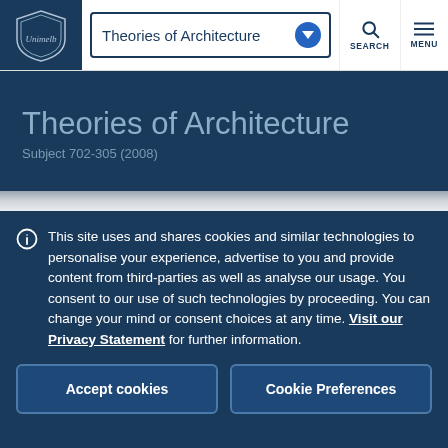Theories of Architecture | SEARCH | MENU
Theories of Architecture
Subject 702-305 (2008)
This site uses and shares cookies and similar technologies to personalise your experience, advertise to you and provide content from third-parties as well as analyse our usage. You consent to our use of such technologies by proceeding. You can change your mind or consent choices at any time. Visit our Privacy Statement for further information.
Accept cookies
Cookie Preferences